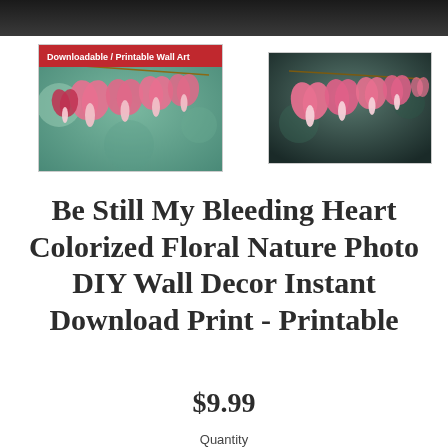[Figure (photo): Top dark banner strip — cropped top portion of a floral photo]
[Figure (photo): Left thumbnail: bleeding heart flowers on a teal-green bokeh background with red badge reading 'Downloadable / Printable Wall Art']
[Figure (photo): Right thumbnail: bleeding heart flowers on a dark background, no badge]
Be Still My Bleeding Heart Colorized Floral Nature Photo DIY Wall Decor Instant Download Print - Printable
$9.99
Quantity